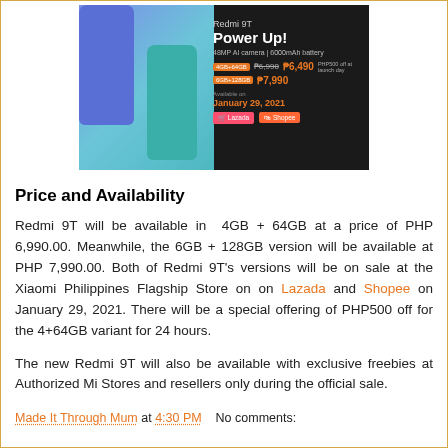[Figure (photo): Redmi 9T Power Up advertisement showing two smartphones (blue and teal) with pricing: 4GB+64GB at ₱6,490 (PHP500 off) and 6GB+128GB at ₱7,990, available January 29, 2021 on Lazada and Shopee]
Price and Availability
Redmi 9T will be available in 4GB + 64GB at a price of PHP 6,990.00. Meanwhile, the 6GB + 128GB version will be available at PHP 7,990.00. Both of Redmi 9T's versions will be on sale at the Xiaomi Philippines Flagship Store on on Lazada and Shopee on January 29, 2021. There will be a special offering of PHP500 off for the 4+64GB variant for 24 hours.
The new Redmi 9T will also be available with exclusive freebies at Authorized Mi Stores and resellers only during the official sale.
Made It Through Mum at 4:30 PM   No comments: